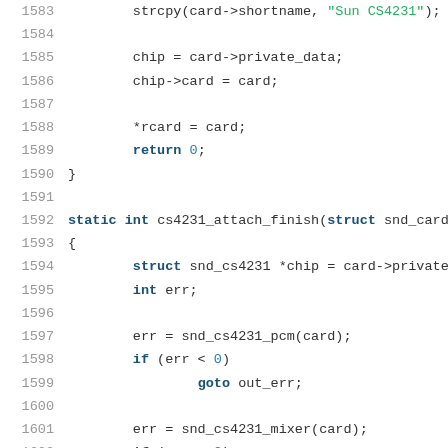1583    strcpy(card->shortname, "Sun CS4231");
1584
1585        chip = card->private_data;
1586        chip->card = card;
1587
1588        *rcard = card;
1589        return 0;
1590    }
1591
1592    static int cs4231_attach_finish(struct snd_card
1593    {
1594        struct snd_cs4231 *chip = card->private
1595        int err;
1596
1597        err = snd_cs4231_pcm(card);
1598        if (err < 0)
1599                goto out_err;
1600
1601        err = snd_cs4231_mixer(card);
1602        if (err < 0)
1603                goto out_err;
1604